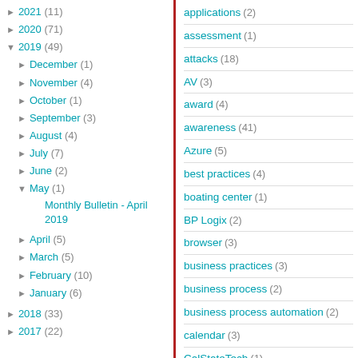► 2021 (11)
► 2020 (71)
▼ 2019 (49)
► December (1)
► November (4)
► October (1)
► September (3)
► August (4)
► July (7)
► June (2)
▼ May (1)
Monthly Bulletin - April 2019
► April (5)
► March (5)
► February (10)
► January (6)
► 2018 (33)
► 2017 (22)
applications (2)
assessment (1)
attacks (18)
AV (3)
award (4)
awareness (41)
Azure (5)
best practices (4)
boating center (1)
BP Logix (2)
browser (3)
business practices (3)
business process (2)
business process automation (2)
calendar (3)
CalStateTech (1)